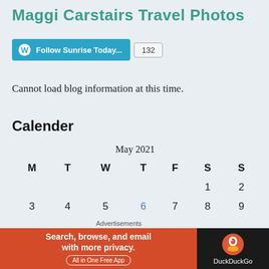Maggi Carstairs Travel Photos
[Figure (screenshot): WordPress Follow button with text 'Follow Sunrise Today...' and a count badge showing 132]
Cannot load blog information at this time.
Calender
| M | T | W | T | F | S | S |
| --- | --- | --- | --- | --- | --- | --- |
|  |  |  |  |  | 1 | 2 |
| 3 | 4 | 5 | 6 | 7 | 8 | 9 |
Advertisements
[Figure (screenshot): DuckDuckGo advertisement banner: 'Search, browse, and email with more privacy. All in One Free App' with DuckDuckGo duck logo on dark right panel]